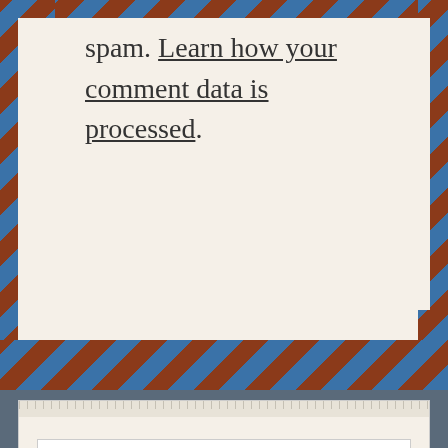spam. Learn how your comment data is processed.
[Figure (screenshot): Search bar widget with placeholder text 'Search ...' and a magnifying glass icon, on a cream/beige striped background]
The BeZine